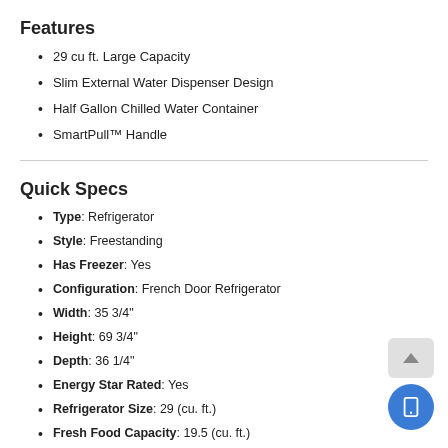Features
29 cu ft. Large Capacity
Slim External Water Dispenser Design
Half Gallon Chilled Water Container
SmartPull™ Handle
Quick Specs
Type: Refrigerator
Style: Freestanding
Has Freezer: Yes
Configuration: French Door Refrigerator
Width: 35 3/4"
Height: 69 3/4"
Depth: 36 1/4"
Energy Star Rated: Yes
Refrigerator Size: 29 (cu. ft.)
Fresh Food Capacity: 19.5 (cu. ft.)
Freezer Capacity: 9.5 (cu. ft.)
Icemaker: Yes
Dispenser: Yes
Counter Depth: No
Sabbath Mode: Yes
WiFi Connected: No